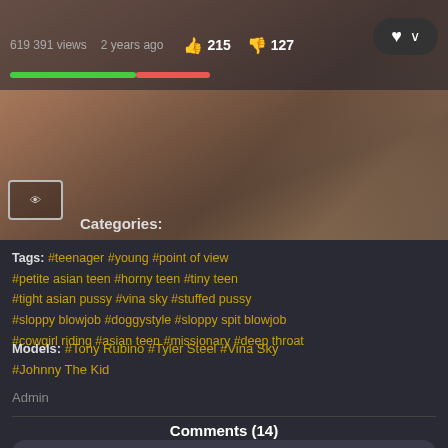[Figure (screenshot): Video thumbnail showing blurred/obscured content with overlay of view count, timestamp, like/dislike counts and rating bar]
619 391 views   2 years ago   215   127
Categories:
Tags: #teenager #young #point of view #petite asian teen #horny teen #tiny teen #tight asian pussy #vina sky #stuffed pussy #sloppy blowjob #doggystyle #sloppy spit blowjob #cowgirl riding #asian teen #missionary #deep throat
Models: #Tony Rubino #Tyler Steel #Vina Sky #Johnny The Kid
Admin
Comments (14)
optional, please enter name to make your comment person...